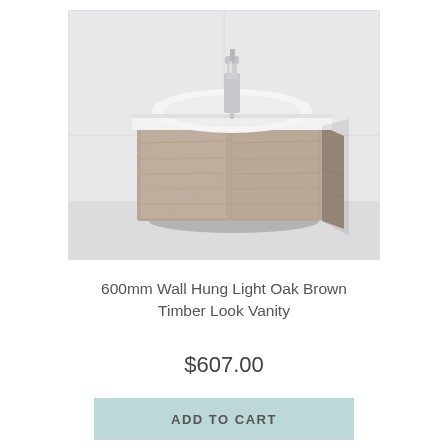[Figure (photo): Wall-hung bathroom vanity with light oak brown timber look finish, two cabinet doors, white ceramic basin, and chrome tap faucet mounted on white tile wall.]
600mm Wall Hung Light Oak Brown Timber Look Vanity
$607.00
ADD TO CART